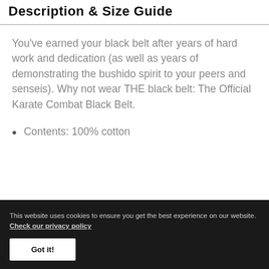Description & Size Guide
You've earned your black belt after years of hard work and dedication (as well as years of demonstrating the bushido spirit to your peers and senseis). Why not wear THE black belt: The Official Karate Combat Black Belt.
Contents: 100% cotton
This website uses cookies to ensure you get the best experience on our website. Check our privacy policy
Got it!